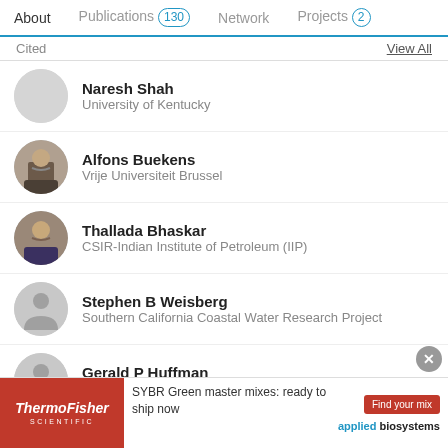About  Publications 130  Network  Projects 2
Cited  View All
Naresh Shah
University of Kentucky
Alfons Buekens
Vrije Universiteit Brussel
Thallada Bhaskar
CSIR-Indian Institute of Petroleum (IIP)
Stephen B Weisberg
Southern California Coastal Water Research Project
Gerald P Huffman
University of Kentucky
Advertisement
[Figure (screenshot): ThermoFisher Scientific advertisement banner: SYBR Green master mixes ready to ship now, Find your mix button, applied biosystems logo]